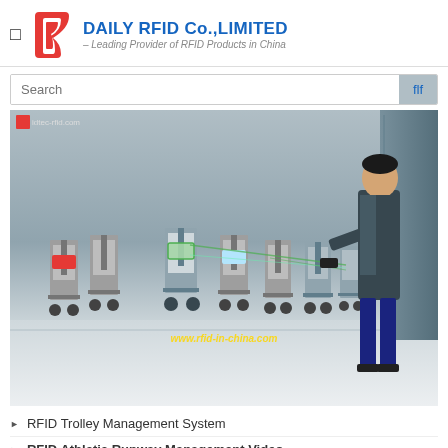DAILY RFID Co.,LIMITED — Leading Provider of RFID Products in China
[Figure (screenshot): Video screenshot of a person using an RFID handheld reader to manage a row of airport trolleys/carts in a warehouse setting. Green RFID scan beams visible. Watermark: www.rfid-in-china.com]
RFID Trolley Management System
RFID Athletic Runway Management Video